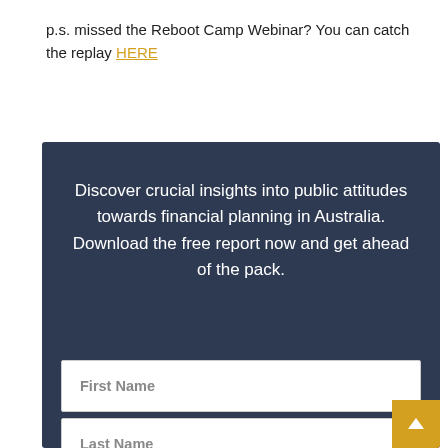p.s. missed the Reboot Camp Webinar? You can catch the replay HERE
[Figure (other): Dark navy blue promotional box with white text and input form fields for First Name, Last Name, and Email, plus a gold scroll-to-top button]
Discover crucial insights into public attitudes towards financial planning in Australia. Download the free report now and get ahead of the pack.
First Name
Last Name
Email